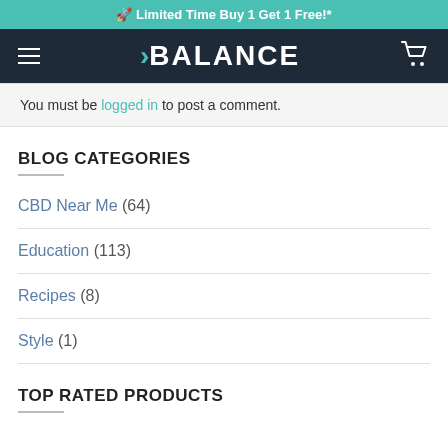🚀 Limited Time Buy 1 Get 1 Free!*
[Figure (logo): Balance CBD brand logo with teal arrow/chevron and white text on dark navy background, with hamburger menu icon on left and cart icon on right]
You must be logged in to post a comment.
BLOG CATEGORIES
CBD Near Me (64)
Education (113)
Recipes (8)
Style (1)
TOP RATED PRODUCTS